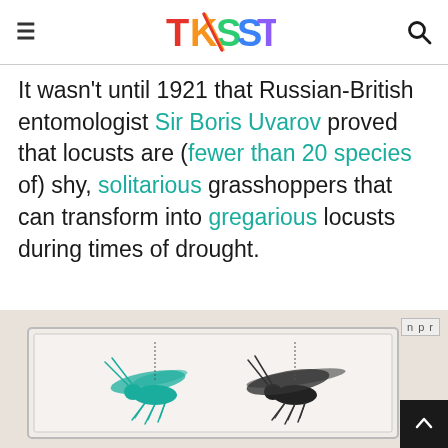TKSST
It wasn't until 1921 that Russian-British entomologist Sir Boris Uvarov proved that locusts are (fewer than 20 species of) shy, solitarious grasshoppers that can transform into gregarious locusts during times of drought.
[Figure (photo): Scientific illustration of two grasshopper/locust specimens side by side — one teal/green and one black — mounted in a display frame, from NPR. A scroll-to-top button appears in the bottom right corner.]